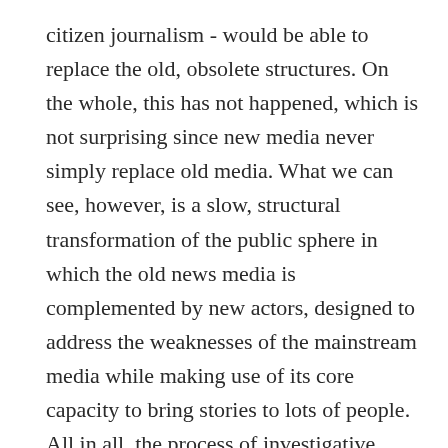citizen journalism - would be able to replace the old, obsolete structures. On the whole, this has not happened, which is not surprising since new media never simply replace old media. What we can see, however, is a slow, structural transformation of the public sphere in which the old news media is complemented by new actors, designed to address the weaknesses of the mainstream media while making use of its core capacity to bring stories to lots of people. All in all, the process of investigative journalism is reorganised and, one can only hope, reinvigorated.
In a news ecology, the traditional news media remains the most important delivery channel for news. It knows best how to package and deliver news effectively. The